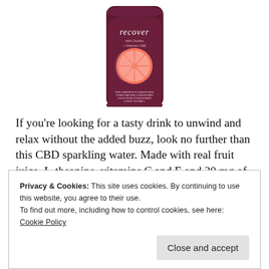[Figure (photo): A dark purple/maroon CBD sparkling water can labeled 'recover' with a grapefruit/citrus slice graphic, partially visible from the top of the image.]
If you're looking for a tasty drink to unwind and relax without the added buzz, look no further than this CBD sparkling water. Made with real fruit juice, L-theanine, vitamins C and E and 20 mg of CBD, this drink is packed with benefits that won't leave you crashing.
Privacy & Cookies: This site uses cookies. By continuing to use this website, you agree to their use.
To find out more, including how to control cookies, see here:
Cookie Policy
Close and accept